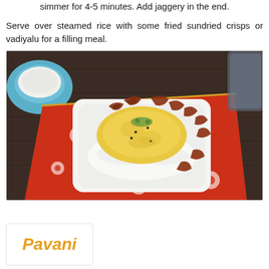simmer for 4-5 minutes. Add jaggery in the end.
Serve over steamed rice with some fried sundried crisps or vadiyalu for a filling meal.
[Figure (photo): A white square bowl containing steamed rice topped with yellow dal/curry and fried sundried crisps (vadiyalu), placed on a red and white patterned cloth napkin on a dark wooden surface. A blue bowl of white rice is visible in the background.]
[Figure (logo): Pavani logo in orange italic script on white background with light border]